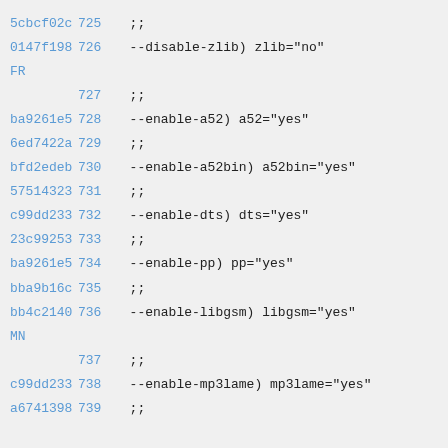5cbcf02c 725  ;;
0147f198 726  --disable-zlib) zlib="no"
FR
727  ;;
ba9261e5 728  --enable-a52) a52="yes"
6ed7422a 729  ;;
bfd2edeb 730  --enable-a52bin) a52bin="yes"
57514323 731  ;;
c99dd233 732  --enable-dts) dts="yes"
23c99253 733  ;;
ba9261e5 734  --enable-pp) pp="yes"
bba9b16c 735  ;;
bb4c2140 736  --enable-libgsm) libgsm="yes"
MN
737  ;;
c99dd233 738  --enable-mp3lame) mp3lame="yes"
a6741398 739  ;;